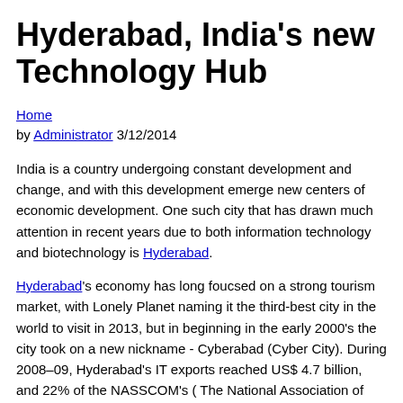Hyderabad, India's new Technology Hub
Home
by Administrator 3/12/2014
India is a country undergoing constant development and change, and with this development emerge new centers of economic development. One such city that has drawn much attention in recent years due to both information technology and biotechnology is Hyderabad.
Hyderabad's economy has long foucsed on a strong tourism market, with Lonely Planet naming it the third-best city in the world to visit in 2013, but in beginning in the early 2000's the city took on a new nickname - Cyberabad (Cyber City). During 2008–09, Hyderabad's IT exports reached US$ 4.7 billion, and 22% of the NASSCOM's ( The National Association of Software and Services Companies ) total membership is from Hyderabad, and the development of HITEC City (Hyderabad Information Technology and Engineering Consultancy City), a township with extensive technological infrastructure, has prompted multinational